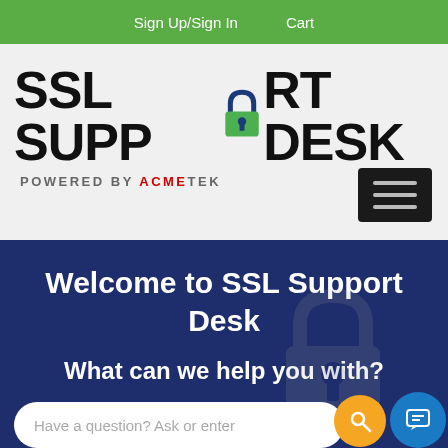Sign Up/Sign In   Cart
[Figure (logo): SSL Support Desk logo with padlock icon, powered by ACMETEK]
Welcome to SSL Support Desk
What can we help you with?
Have a question? Ask or enter